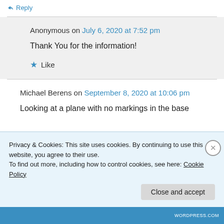↪ Reply
Anonymous on July 6, 2020 at 7:52 pm
Thank You for the information!
★ Like
Michael Berens on September 8, 2020 at 10:06 pm
Looking at a plane with no markings in the base
Privacy & Cookies: This site uses cookies. By continuing to use this website, you agree to their use.
To find out more, including how to control cookies, see here: Cookie Policy
Close and accept